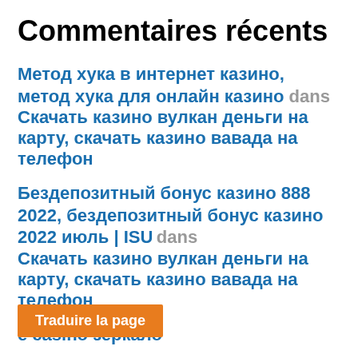Commentaires récents
Метод хука в интернет казино, метод хука для онлайн казино dans Скачать казино вулкан деньги на карту, скачать казино вавада на телефон
Бездепозитный бонус казино 888 2022, бездепозитный бонус казино 2022 июль | ISU dans Скачать казино вулкан деньги на карту, скачать казино вавада на телефон
e casino зеркало
Traduire la page